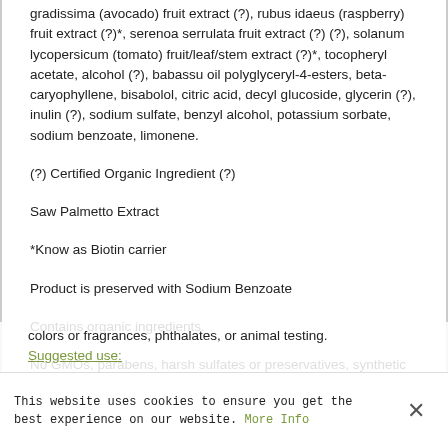gradissima (avocado) fruit extract (?), rubus idaeus (raspberry) fruit extract (?)*, serenoa serrulata fruit extract (?) (?), solanum lycopersicum (tomato) fruit/leaf/stem extract (?)*, tocopheryl acetate, alcohol (?), babassu oil polyglyceryl-4-esters, beta-caryophyllene, bisabolol, citric acid, decyl glucoside, glycerin (?), inulin (?), sodium sulfate, benzyl alcohol, potassium sorbate, sodium benzoate, limonene.
(?) Certified Organic Ingredient (?)
Saw Palmetto Extract
*Know as Biotin carrier
Product is preserved with Sodium Benzoate
Contains organic ingredients.
No GMOs, parabens, harsh sulfates or preservatives, synthetic colors or fragrances, phthalates, or animal testing.
Suggested use:
This website uses cookies to ensure you get the best experience on our website. More Info